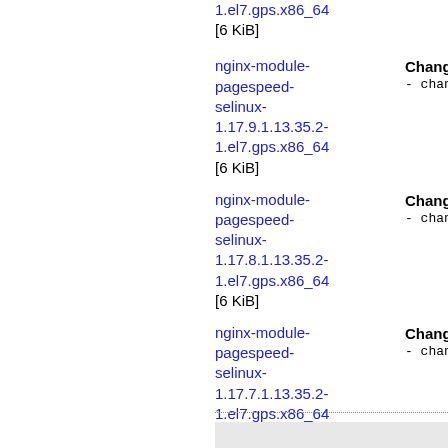1.el7.gps.x86_64 [6 KiB]
nginx-module-pagespeed-selinux-1.17.9.1.13.35.2-1.el7.gps.x86_64 [6 KiB]
Changelog by D - changelogs
nginx-module-pagespeed-selinux-1.17.8.1.13.35.2-1.el7.gps.x86_64 [6 KiB]
Changelog by D - changelogs
nginx-module-pagespeed-selinux-1.17.7.1.13.35.2-1.el7.gps.x86_64 [6 KiB]
Changelog by D - changelogs